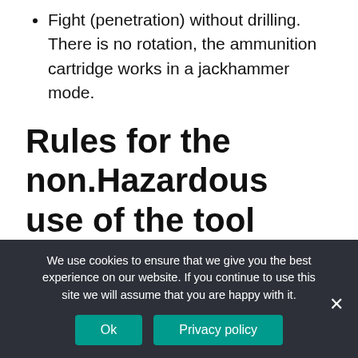Fight (penetration) without drilling. There is no rotation, the ammunition cartridge works in a jackhammer mode.
Rules for the non.Hazardous use of the tool
Use the peorator is permissible only with the use of personal protective equipment. They have a relationship with protective glasses,
We use cookies to ensure that we give you the best experience on our website. If you continue to use this site we will assume that you are happy with it.